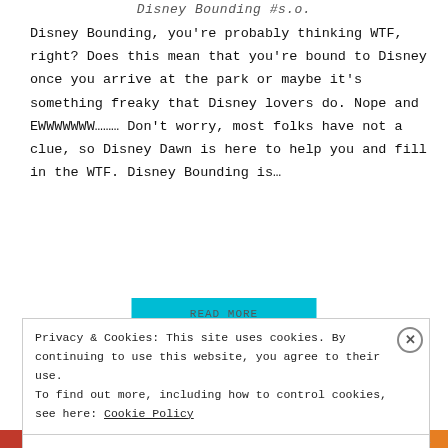Disney Bounding #s.o.
Disney Bounding, you're probably thinking WTF, right? Does this mean that you're bound to Disney once you arrive at the park or maybe it's something freaky that Disney lovers do. Nope and EWWWWWWW……… Don't worry, most folks have not a clue, so Disney Dawn is here to help you and fill in the WTF. Disney Bounding is…
Privacy & Cookies: This site uses cookies. By continuing to use this website, you agree to their use. To find out more, including how to control cookies, see here: Cookie Policy
Close and accept